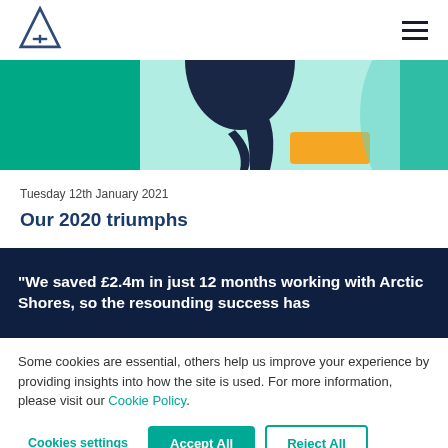Arctic Shores logo and navigation
[Figure (illustration): Partial illustration showing a person in a dark navy suit reaching down, with green and teal background shapes and an orange/yellow rectangular element]
Tuesday 12th January 2021
Our 2020 triumphs
“We saved £2.4m in just 12 months working with Arctic Shores, so the resounding success has
Some cookies are essential, others help us improve your experience by providing insights into how the site is used. For more information, please visit our Cookie Policy.
Cookies settings  Accept All  Reject All